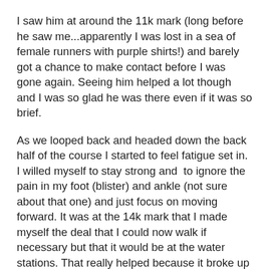I saw him at around the 11k mark (long before he saw me...apparently I was lost in a sea of female runners with purple shirts!) and barely got a chance to make contact before I was gone again. Seeing him helped a lot though and I was so glad he was there even if it was so brief.
As we looped back and headed down the back half of the course I started to feel fatigue set in. I willed myself to stay strong and  to ignore the pain in my foot (blister) and ankle (not sure about that one) and just focus on moving forward. It was at the 14k mark that I made myself the deal that I could now walk if necessary but that it would be at the water stations. That really helped because it broke up the remainder of the race into 2.5k increments rather then "I'm so tired and I still have 7k to go!"
Admittedly I did slip into a little negativity when I lost the pace bunny at around the 18k mark but I tried hard to shake it off and just think about finishing. I was really tired and the thought of 3 more kilometres was weighing on me. I started to doubt that I could do it until I reminded myself that I had